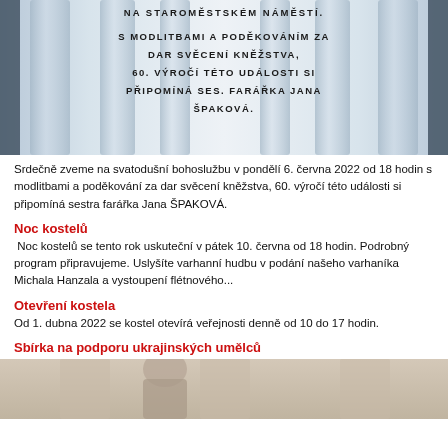[Figure (photo): Decorative image with columns and overlaid Czech text about a Pentecost service, ordination anniversary, and Sister Pastor Jana Špaková at Staroměstské náměstí]
Srdečně zveme na svatodušní bohoslužbu v pondělí 6. června 2022 od 18 hodin s modlitbami a poděkování za dar svěcení kněžstva, 60. výročí této události si připomíná sestra farářka Jana ŠPAKOVÁ.
Noc kostelů
Noc kostelů se tento rok uskuteční v pátek 10. června od 18 hodin. Podrobný program připravujeme. Uslyšíte varhanní hudbu v podání našeho varhaníka Michala Hanzala a vystoupení flétnového...
Otevření kostela
Od 1. dubna 2022 se kostel otevírá veřejnosti denně od 10 do 17 hodin.
Sbírka na podporu ukrajinských umělců
[Figure (photo): Photo showing a person near ornate classical columns, partial view at bottom of page]